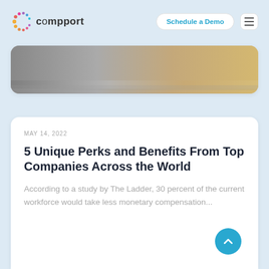[Figure (logo): Compport logo with colorful circular icon and text 'compport']
Schedule a Demo
[Figure (photo): Partially visible banner image showing a reflective surface with warm golden tones]
MAY 14, 2022
5 Unique Perks and Benefits From Top Companies Across the World
According to a study by The Ladder, 30 percent of the current workforce would take less monetary compensation...